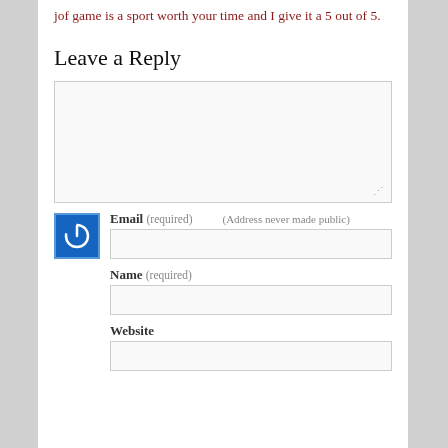jof game is a sport worth your time and I give it a 5 out of 5.
Leave a Reply
[Figure (screenshot): Comment textarea input box with resize handle at bottom right]
[Figure (screenshot): WordPress avatar icon (blue power button) and form fields for Email (required, address never made public), Name (required), and Website]
Email (required) (Address never made public)
Name (required)
Website